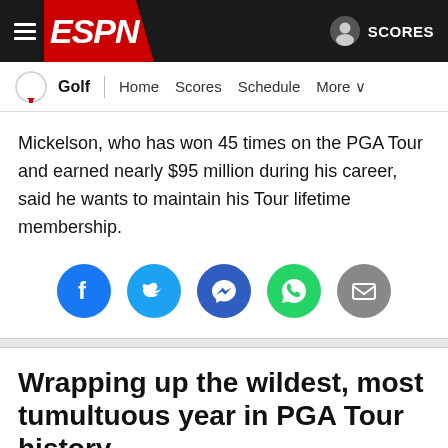ESPN — Golf | Home Scores Schedule More | SCORES
Mickelson, who has won 45 times on the PGA Tour and earned nearly $95 million during his career, said he wants to maintain his Tour lifetime membership.
[Figure (infographic): Social sharing icons row: Facebook, Twitter, Messenger, WhatsApp, Email]
Wrapping up the wildest, most tumultuous year in PGA Tour history
[Figure (photo): Bottom partial photo strip, dark image]